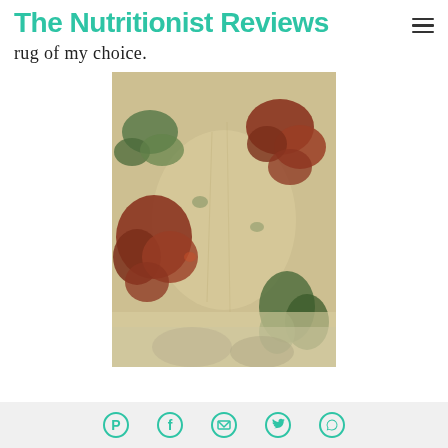The Nutritionist Reviews
rug of my choice.
[Figure (photo): A decorative rug with a botanical/floral pattern featuring rust-red and dark green leaf motifs on a beige/tan background, photographed from above.]
Social share icons: Pinterest, Facebook, Email, Twitter, WhatsApp